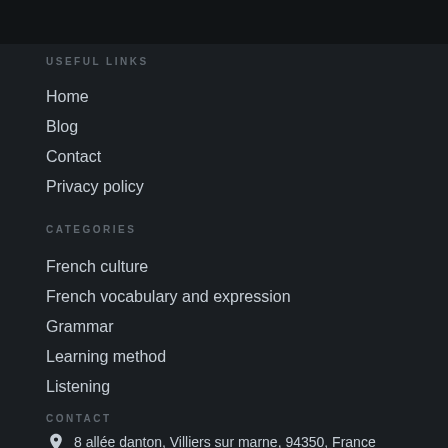USEFUL LINKS
Home
Blog
Contact
Privacy policy
CATEGORIES
French culture
French vocabulary and expression
Grammar
Learning method
Listening
CONTACT
8 allée danton, Villiers sur marne, 94350, France